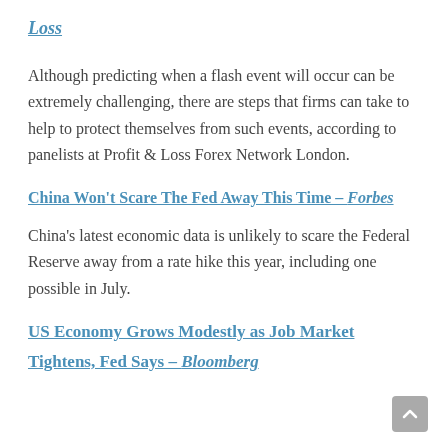Loss
Although predicting when a flash event will occur can be extremely challenging, there are steps that firms can take to help to protect themselves from such events, according to panelists at Profit & Loss Forex Network London.
China Won't Scare The Fed Away This Time – Forbes
China's latest economic data is unlikely to scare the Federal Reserve away from a rate hike this year, including one possible in July.
US Economy Grows Modestly as Job Market Tightens, Fed Says – Bloomberg